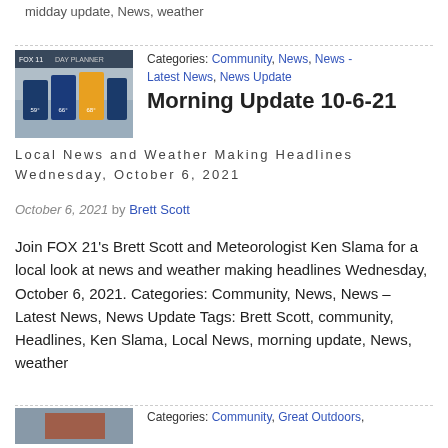midday update, News, weather
Categories: Community, News, News - Latest News, News Update
Morning Update 10-6-21
Local News and Weather Making Headlines Wednesday, October 6, 2021
October 6, 2021 by Brett Scott
Join FOX 21's Brett Scott and Meteorologist Ken Slama for a local look at news and weather making headlines Wednesday, October 6, 2021. Categories: Community, News, News – Latest News, News Update Tags: Brett Scott, community, Headlines, Ken Slama, Local News, morning update, News, weather
Categories: Community, Great Outdoors,